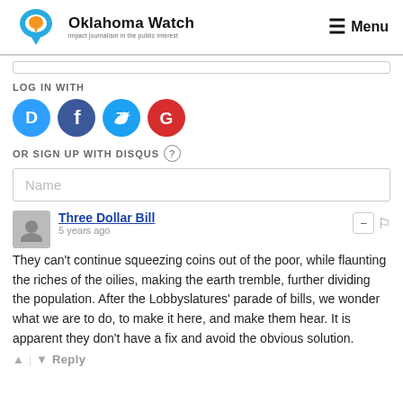[Figure (logo): Oklahoma Watch logo with speech bubble icon and tagline 'impact journalism in the public interest']
≡ Menu
[Figure (screenshot): Partial input box at top of comments section]
LOG IN WITH
[Figure (infographic): Social login icons: Disqus (blue), Facebook (dark blue), Twitter (light blue), Google (red)]
OR SIGN UP WITH DISQUS ?
Name
Three Dollar Bill
5 years ago
They can't continue squeezing coins out of the poor, while flaunting the riches of the oilies, making the earth tremble, further dividing the population. After the Lobbyslatures' parade of bills, we wonder what we are to do, to make it here, and make them hear. It is apparent they don't have a fix and avoid the obvious solution.
Reply